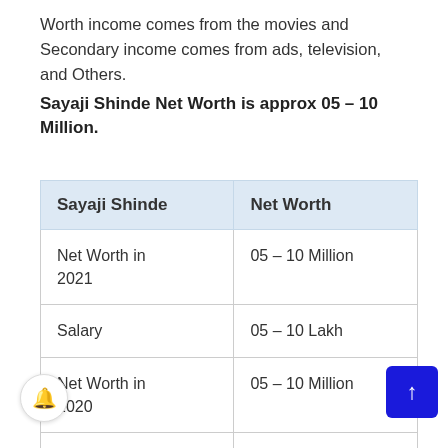Worth income comes from the movies and Secondary income comes from ads, television, and Others.
Sayaji Shinde Net Worth is approx 05 – 10 Million.
| Sayaji Shinde | Net Worth |
| --- | --- |
| Net Worth in 2021 | 05 – 10 Million |
| Salary | 05 – 10 Lakh |
| Net Worth in 2020 | 05 – 10 Million |
| Net Worth in [cut off] | 05 – 10 Million |